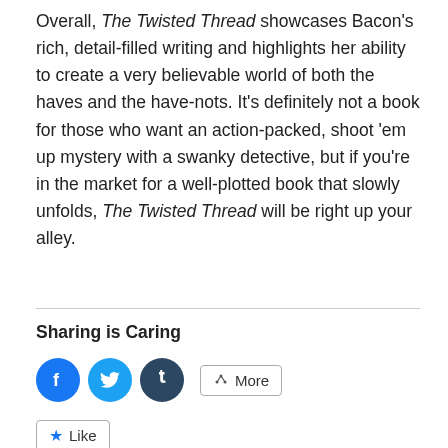Overall, The Twisted Thread showcases Bacon's rich, detail-filled writing and highlights her ability to create a very believable world of both the haves and the have-nots. It's definitely not a book for those who want an action-packed, shoot 'em up mystery with a swanky detective, but if you're in the market for a well-plotted book that slowly unfolds, The Twisted Thread will be right up your alley.
Sharing is Caring
[Figure (other): Social sharing buttons: Facebook (blue circle), Twitter (light blue circle), Tumblr (dark blue circle), More button with share icon, and a Like button with star icon]